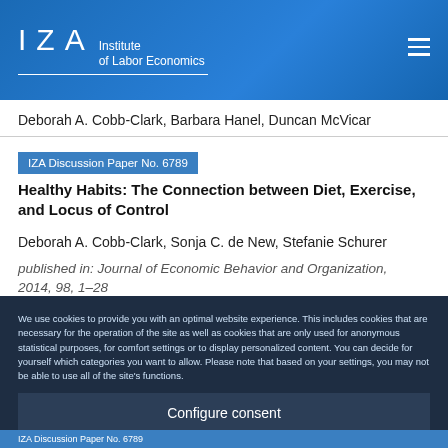IZA Institute of Labor Economics
Deborah A. Cobb-Clark, Barbara Hanel, Duncan McVicar
IZA Discussion Paper No. 6789
Healthy Habits: The Connection between Diet, Exercise, and Locus of Control
Deborah A. Cobb-Clark, Sonja C. de New, Stefanie Schurer
published in: Journal of Economic Behavior and Organization, 2014, 98, 1–28
We use cookies to provide you with an optimal website experience. This includes cookies that are necessary for the operation of the site as well as cookies that are only used for anonymous statistical purposes, for comfort settings or to display personalized content. You can decide for yourself which categories you want to allow. Please note that based on your settings, you may not be able to use all of the site's functions.
Configure consent
Accept all